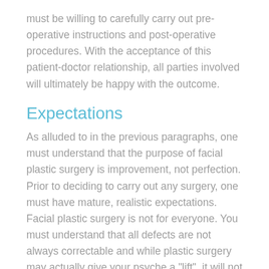must be willing to carefully carry out pre-operative instructions and post-operative procedures. With the acceptance of this patient-doctor relationship, all parties involved will ultimately be happy with the outcome.
Expectations
As alluded to in the previous paragraphs, one must understand that the purpose of facial plastic surgery is improvement, not perfection. Prior to deciding to carry out any surgery, one must have mature, realistic expectations. Facial plastic surgery is not for everyone. You must understand that all defects are not always correctable and while plastic surgery may actually give your psyche a "lift", it will not make an unhappy person happy. Surgeries are performed to correct specific problems – they